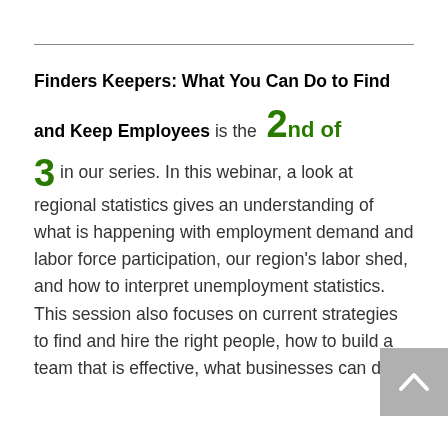Finders Keepers: What You Can Do to Find and Keep Employees is the 2nd of 3 in our series. In this webinar, a look at regional statistics gives an understanding of what is happening with employment demand and labor force participation, our region's labor shed, and how to interpret unemployment statistics. This session also focuses on current strategies to find and hire the right people, how to build a team that is effective, what businesses can do...